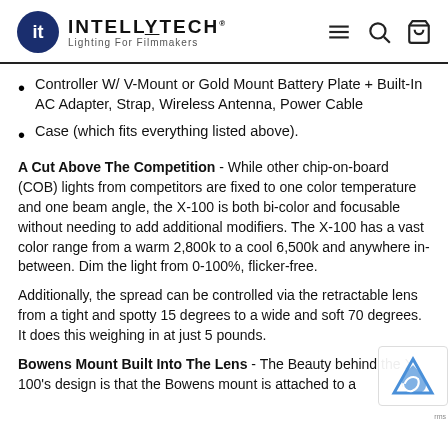INTELLYTECH - Lighting For Filmmakers
Controller W/ V-Mount or Gold Mount Battery Plate + Built-In AC Adapter, Strap, Wireless Antenna, Power Cable
Case (which fits everything listed above).
A Cut Above The Competition - While other chip-on-board (COB) lights from competitors are fixed to one color temperature and one beam angle, the X-100 is both bi-color and focusable without needing to add additional modifiers. The X-100 has a vast color range from a warm 2,800k to a cool 6,500k and anywhere in-between. Dim the light from 0-100%, flicker-free.
Additionally, the spread can be controlled via the retractable lens from a tight and spotty 15 degrees to a wide and soft 70 degrees.  It does this weighing in at just 5 pounds.
Bowens Mount Built Into The Lens - The Beauty behind the X-100's design is that the Bowens mount is attached to a